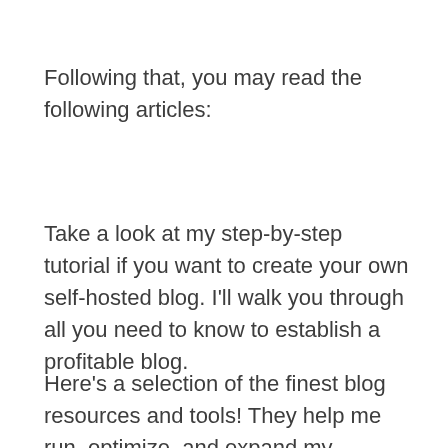Following that, you may read the following articles:
Take a look at my step-by-step tutorial if you want to create your own self-hosted blog. I'll walk you through all you need to know to establish a profitable blog.
Here's a selection of the finest blog resources and tools! They help me run, optimize, and expand my